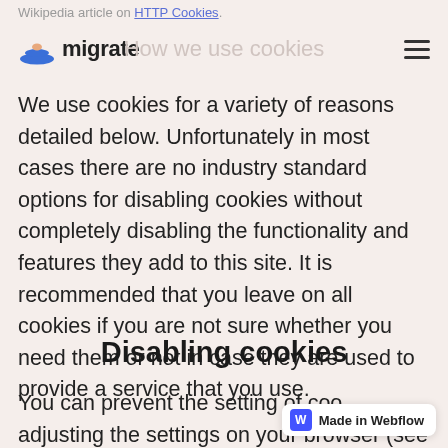Wikipedia article on HTTP Cookies.
[Figure (logo): Migrate website logo with icon and hamburger navigation menu, with 'How we use cookies' heading in background]
We use cookies for a variety of reasons detailed below. Unfortunately in most cases there are no industry standard options for disabling cookies without completely disabling the functionality and features they add to this site. It is recommended that you leave on all cookies if you are not sure whether you need them or not in case they are used to provide a service that you use.
Disabling cookies
You can prevent the setting of cookies by adjusting the settings on your browser (see your